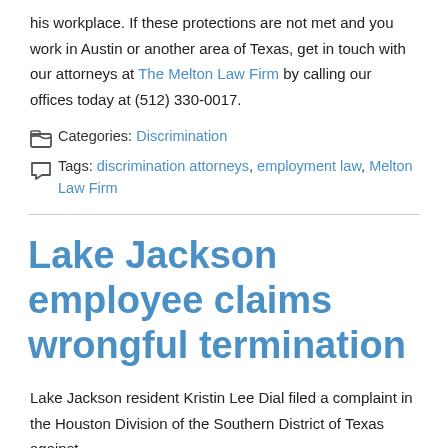his workplace. If these protections are not met and you work in Austin or another area of Texas, get in touch with our attorneys at The Melton Law Firm by calling our offices today at (512) 330-0017.
Categories: Discrimination
Tags: discrimination attorneys, employment law, Melton Law Firm
Lake Jackson employee claims wrongful termination
Lake Jackson resident Kristin Lee Dial filed a complaint in the Houston Division of the Southern District of Texas against